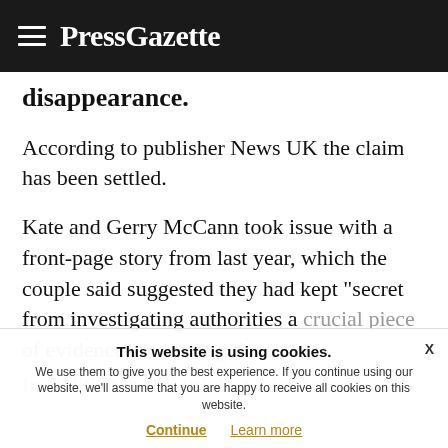PressGazette
disappearance.
According to publisher News UK the claim has been settled.
Kate and Gerry McCann took issue with a front-page story from last year, which the couple said suggested they had kept "secret from investigating authorities a crucial piece of evidence concerning the
In addition to the article, which was
This website is using cookies. We use them to give you the best experience. If you continue using our website, we'll assume that you are happy to receive all cookies on this website. Continue  Learn more